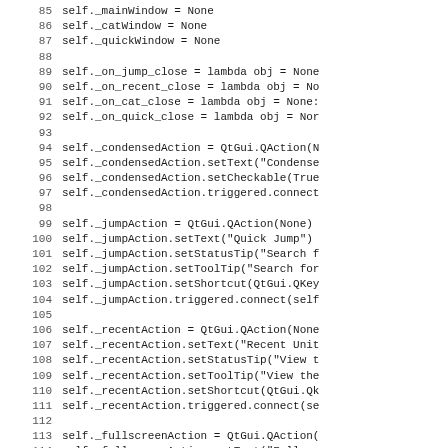Source code listing, lines 85-116, Python class initialization code for window and action attributes